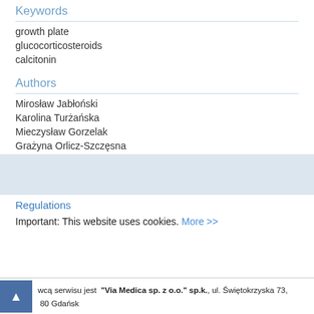Keywords
growth plate
glucocorticosteroids
calcitonin
Authors
Mirosław Jabłoński
Karolina Turżańska
Mieczysław Gorzelak
Grażyna Orlicz-Szczęsna
Regulations
Important: This website uses cookies. More >>
wcą serwisu jest "Via Medica sp. z o.o." sp.k., ul. Świętokrzyska 73, 80 Gdańsk